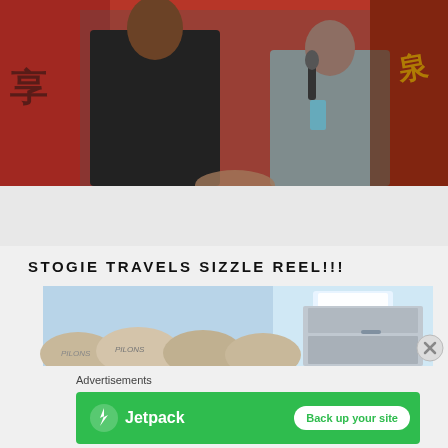[Figure (photo): Two men shaking hands at an event with a red decorated backdrop; one in black shirt, one holding a microphone and wooden object]
STOGIE TRAVELS SIZZLE REEL!!!
[Figure (photo): Bags of what appears to be tobacco leaves or similar material stacked in a room with light blue walls]
Advertisements
[Figure (infographic): Jetpack advertisement banner with green background showing Jetpack logo and 'Back up your site' button]